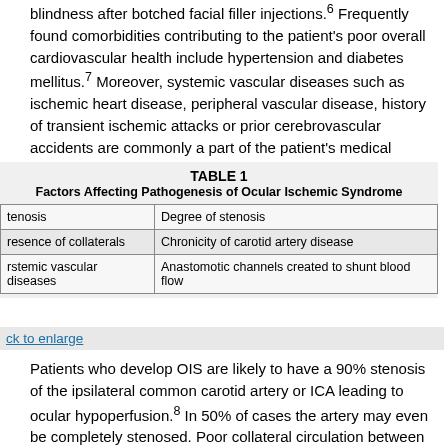blindness after botched facial filler injections.6 Frequently found comorbidities contributing to the patient's poor overall cardiovascular health include hypertension and diabetes mellitus.7 Moreover, systemic vascular diseases such as ischemic heart disease, peripheral vascular disease, history of transient ischemic attacks or prior cerebrovascular accidents are commonly a part of the patient's medical history.
|  |  |
| --- | --- |
| tenosis | Degree of stenosis |
| resence of collaterals | Chronicity of carotid artery disease |
| rstemic vascular diseases | Anastomotic channels created to shunt blood flow |
ck to enlarge
Patients who develop OIS are likely to have a 90% stenosis of the ipsilateral common carotid artery or ICA leading to ocular hypoperfusion.8 In 50% of cases the artery may even be completely stenosed. Poor collateral circulation between the internal and external carotid or between both ICAs have been demonstrated to increase the risk of development of OIS.2,9 Some studies have shown that those with well-developed collateral